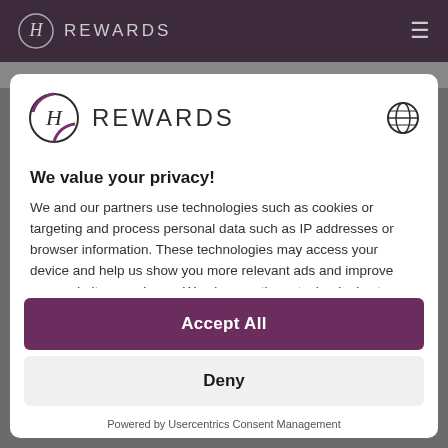H REWARDS
[Figure (logo): H Rewards logo with globe/language selector icon in modal header]
We value your privacy!
We and our partners use technologies such as cookies or targeting and process personal data such as IP addresses or browser information. These technologies may access your device and help us show you more relevant ads and improve your website experience. We also use these technologies to measure performance or better tailor our website content. Because we value your privacy, we hereby request your consent to use the
Accept All
Deny
Powered by Usercentrics Consent Management